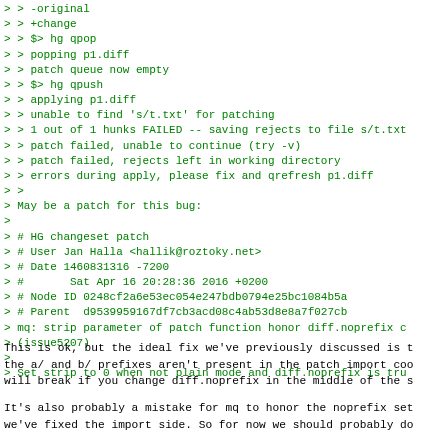> > -original
> > +change
> > $> hg qpop
> > popping p1.diff
> > patch queue now empty
> > $> hg qpush
> > applying p1.diff
> > unable to find 's/t.txt' for patching
> > 1 out of 1 hunks FAILED -- saving rejects to file s/t.txt
> > patch failed, unable to continue (try -v)
> > patch failed, rejects left in working directory
> > errors during apply, please fix and qrefresh p1.diff
> >
> May be a patch for this bug:
>
> # HG changeset patch
> # User Jan Halla <hallik@roztoky.net>
> # Date 1460831316 -7200
> #       Sat Apr 16 20:28:36 2016 +0200
> # Node ID 0248cf2a6e53ec054e247bdb0794e25bc1084b5a
> # Parent  d9539959167df7cb3acd08c4ab53d8e8a7f027cb
> mq: strip parameter of patch function honor diff.noprefix c
> (issue5207)
>
> Set strip to 0 when not plain mode and diff.noprefix is tru
This is ok, but the ideal fix we've previously discussed is t
the a/ and b/ prefixes aren't present in the patch import coo
will break if you change diff.noprefix in the middle of the s
It's also probably a mistake for mq to honor the noprefix set
we've fixed the import side. So for now we should probably do